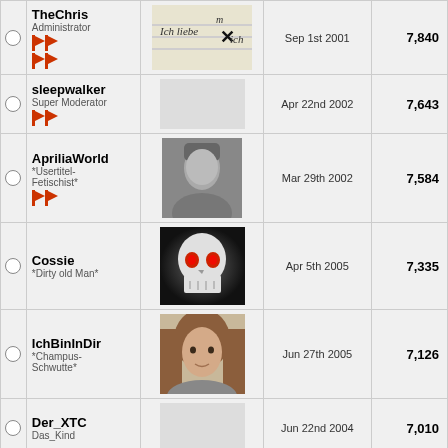|  | Username/Role | Avatar | Join Date | Posts |
| --- | --- | --- | --- | --- |
|  | TheChris / Administrator | [avatar: handwritten note 'Ich liebe dich'] | Sep 1st 2001 | 7,840 |
|  | sleepwalker / Super Moderator |  | Apr 22nd 2002 | 7,643 |
|  | ApriliaWorld / *Usertitel-Fetischist* | [avatar: b&w portrait] | Mar 29th 2002 | 7,584 |
|  | Cossie / *Dirty old Man* | [avatar: skull logo] | Apr 5th 2005 | 7,335 |
|  | IchBinInDir / *Champus-Schwutte* | [avatar: young woman] | Jun 27th 2005 | 7,126 |
|  | Der_XTC / Das_Kind |  | Jun 22nd 2004 | 7,010 |
|  | Com. Rapp | [avatar: young person] | Apr 9th 2002 | 6,929 |
|  | Kingmueller / *...* | [avatar: toy figure with crown] | Mar 25th 2004 | 6,149 |